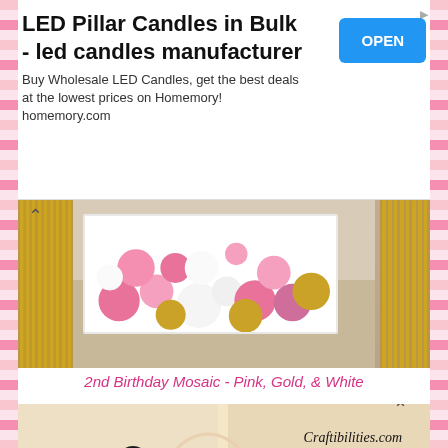LED Pillar Candles in Bulk - led candles manufacturer
Buy Wholesale LED Candles, get the best deals at the lowest prices on Homemory! homemory.com
[Figure (photo): A white rectangular box filled with pink, gold, and white balloons in various sizes arranged as a mosaic display, surrounded by gold foil fringe decorations on a beige carpet.]
2nd Birthday Mosaic - Pink, Gold, & White
[Figure (photo): Two side-by-side photos showing balloon garland mosaics with black, gold, and white balloons arranged in decorative displays. Watermark reads Craftibilities.com.]